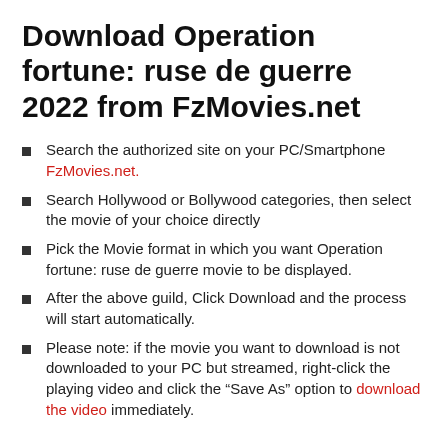Download Operation fortune: ruse de guerre 2022 from FzMovies.net
Search the authorized site on your PC/Smartphone FzMovies.net.
Search Hollywood or Bollywood categories, then select the movie of your choice directly
Pick the Movie format in which you want Operation fortune: ruse de guerre movie to be displayed.
After the above guild, Click Download and the process will start automatically.
Please note: if the movie you want to download is not downloaded to your PC but streamed, right-click the playing video and click the “Save As” option to download the video immediately.